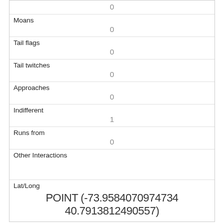| 0 (partial top) |
| Moans | 0 |
| Tail flags | 0 |
| Tail twitches | 0 |
| Approaches | 0 |
| Indifferent | 1 |
| Runs from | 0 |
| Other Interactions |  |
| Lat/Long | POINT (-73.9584070974734 40.7913812490557) |
| Link | 25 |
| rowid |  |